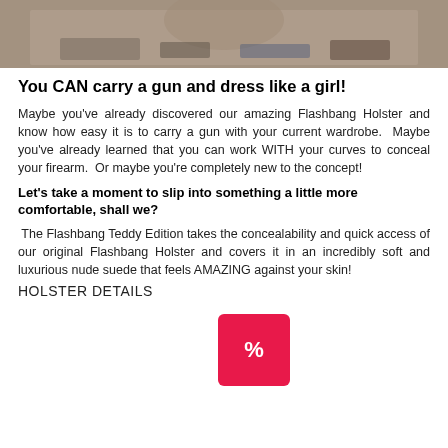[Figure (photo): Photo of a person sitting at a table with various items including a gun holster and accessories]
You CAN carry a gun and dress like a girl!
Maybe you've already discovered our amazing Flashbang Holster and know how easy it is to carry a gun with your current wardrobe.  Maybe you've already learned that you can work WITH your curves to conceal your firearm.  Or maybe you're completely new to the concept!
Let's take a moment to slip into something a little more comfortable, shall we?
The Flashbang Teddy Edition takes the concealability and quick access of our original Flashbang Holster and covers it in an incredibly soft and luxurious nude suede that feels AMAZING against your skin!
HOLSTER DETAILS
(cut off at bottom of page)